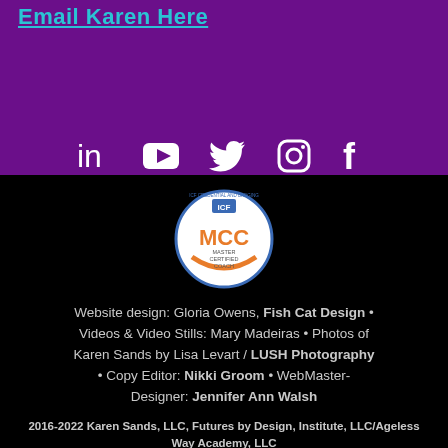Email Karen Here
[Figure (infographic): Social media icons: LinkedIn, YouTube, Twitter, Instagram, Facebook — white icons on purple background]
[Figure (logo): MCC - Master Certified Coach badge/seal from ICF (International Coaching Federation)]
Website design: Gloria Owens, Fish Cat Design • Videos & Video Stills: Mary Madeiras • Photos of Karen Sands by Lisa Levart / LUSH Photography • Copy Editor: Nikki Groom • WebMaster-Designer: Jennifer Ann Walsh
2016-2022 Karen Sands, LLC, Futures by Design, Institute, LLC/Ageless Way Academy, LLC
All rights reserved. Capitalization of terms indicates trademark.
May not be duplicated, retransmitted or reproduced without permission.